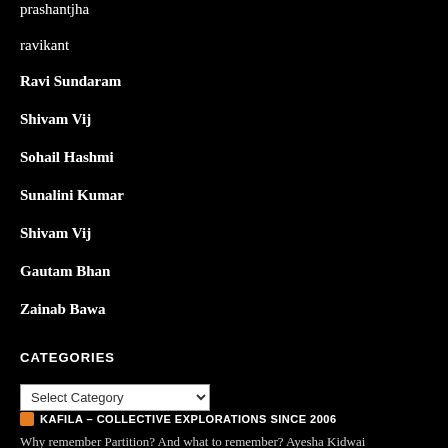prashantjha
ravikant
Ravi Sundaram
Shivam Vij
Sohail Hashmi
Sunalini Kumar
Shivam Vij
Gautam Bhan
Zainab Bawa
CATEGORIES
Select Category dropdown
RSS KAFILA – COLLECTIVE EXPLORATIONS SINCE 2006
Why remember Partition? And what to remember? Ayesha Kidwai